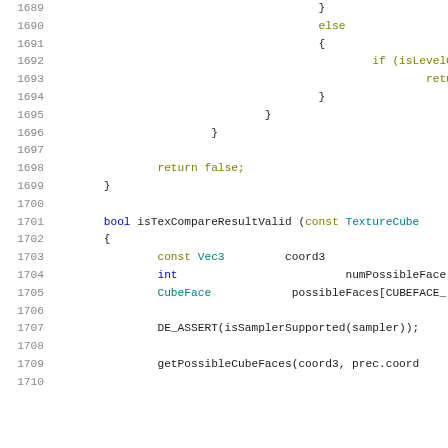Source code listing lines 1689-1710 showing C++ code for isTexCompareResultValid function